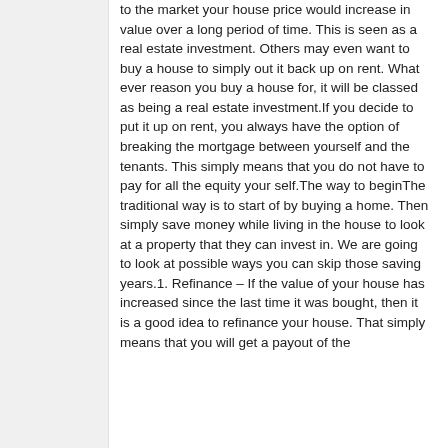to the market your house price would increase in value over a long period of time. This is seen as a real estate investment. Others may even want to buy a house to simply out it back up on rent. What ever reason you buy a house for, it will be classed as being a real estate investment.If you decide to put it up on rent, you always have the option of breaking the mortgage between yourself and the tenants. This simply means that you do not have to pay for all the equity your self.The way to beginThe traditional way is to start of by buying a home. Then simply save money while living in the house to look at a property that they can invest in. We are going to look at possible ways you can skip those saving years.1. Refinance – If the value of your house has increased since the last time it was bought, then it is a good idea to refinance your house. That simply means that you will get a payout of the